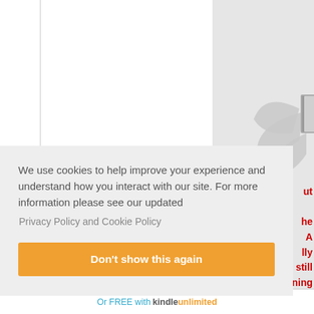[Figure (screenshot): Grey book cover placeholder with a stylized book-and-flower logo in the center on a light grey background]
We use cookies to help improve your experience and understand how you interact with our site. For more information please see our updated
Privacy Policy and Cookie Policy
Don't show this again
Or FREE with kindle unlimited